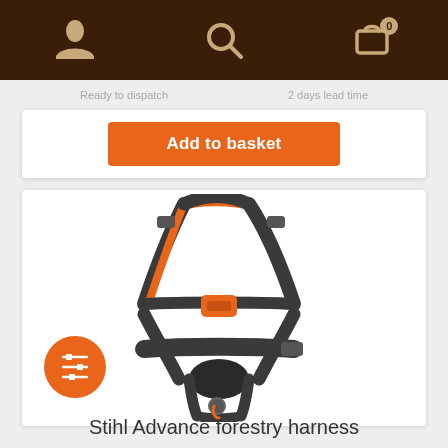Navigation bar with user, search, and cart icons
Ready to dispatch   2 days lead time
Add to basket
[Figure (photo): Stihl Advance forestry harness — black and orange straps forming a full-body support harness with padded back plate and attachment hook, displayed on white background. Orange filter/settings icon badge on lower left.]
Stihl Advance forestry harness